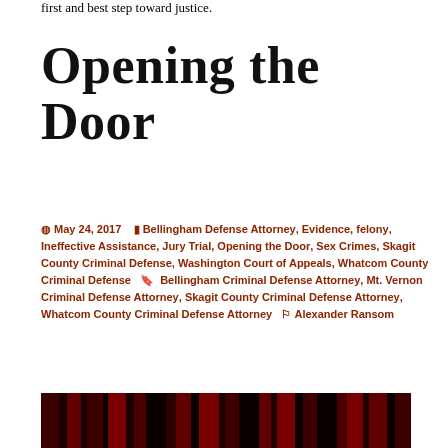first and best step toward justice.
Opening the Door
May 24, 2017  Bellingham Defense Attorney, Evidence, felony, Ineffective Assistance, Jury Trial, Opening the Door, Sex Crimes, Skagit County Criminal Defense, Washington Court of Appeals, Whatcom County Criminal Defense  Bellingham Criminal Defense Attorney, Mt. Vernon Criminal Defense Attorney, Skagit County Criminal Defense Attorney, Whatcom County Criminal Defense Attorney  Alexander Ransom
[Figure (photo): Dark image showing red illuminated curtains or drapes against a black background]